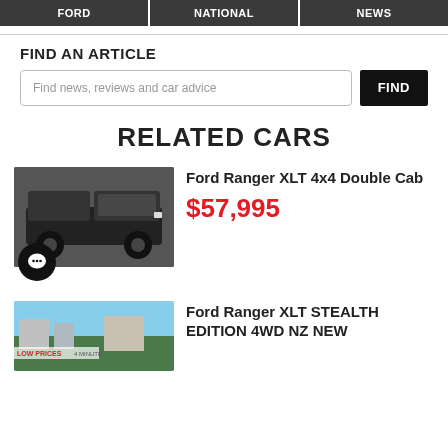FORD | NATIONAL | NEWS
FIND AN ARTICLE
Find news, reviews and car advice
RELATED CARS
Ford Ranger XLT 4x4 Double Cab
$57,995
Ford Ranger XLT STEALTH EDITION 4WD NZ NEW